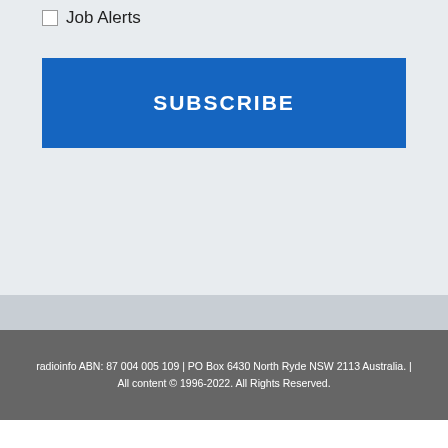Job Alerts
SUBSCRIBE
radioinfo ABN: 87 004 005 109 | PO Box 6430 North Ryde NSW 2113 Australia. | All content © 1996-2022. All Rights Reserved.